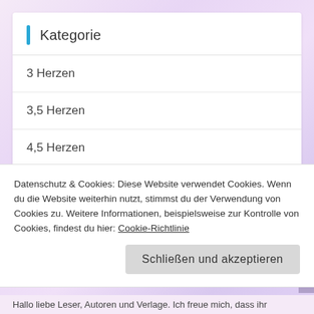Kategorie
3 Herzen
3,5 Herzen
4,5 Herzen
Allgemeines
Alte Beiträge
Rezension
Datenschutz & Cookies: Diese Website verwendet Cookies. Wenn du die Website weiterhin nutzt, stimmst du der Verwendung von Cookies zu. Weitere Informationen, beispielsweise zur Kontrolle von Cookies, findest du hier: Cookie-Richtlinie
Schließen und akzeptieren
Hallo liebe Leser, Autoren und Verlage. Ich freue mich, dass ihr